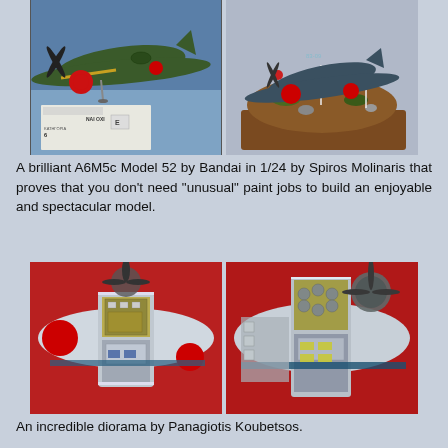[Figure (photo): Two photographs of A6M5c Model 52 aircraft model by Bandai in 1/24 by Spiros Molinaris. Left photo shows dark green airplane model on blue table surface with a label card. Right photo shows same or similar model on a diorama base with terrain.]
A brilliant A6M5c Model 52 by Bandai in 1/24 by Spiros Molinaris that proves that you don't need "unusual" paint jobs to build an enjoyable and spectacular model.
[Figure (photo): Two close-up photographs showing the interior detail of the A6M5c model aircraft, revealing cockpit and engine area with highly detailed parts. Red circle markings visible on wings. Aircraft shown from above with open fuselage revealing internal structure.]
An incredible diorama by Panagiotis Koubetsos.